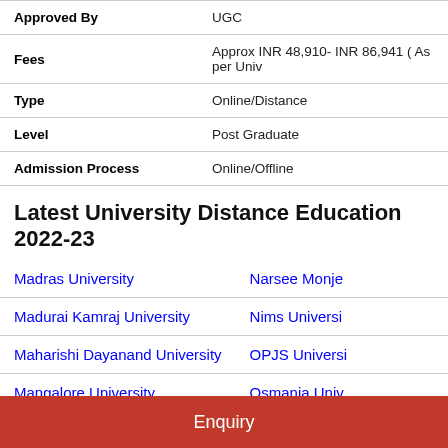| Field | Value |
| --- | --- |
| Approved By | UGC |
| Fees | Approx INR 48,910- INR 86,941 ( As per Univ |
| Type | Online/Distance |
| Level | Post Graduate |
| Admission Process | Online/Offline |
Latest University Distance Education 2022-23
| University Col1 | University Col2 |
| --- | --- |
| Madras University | Narsee Monje |
| Madurai Kamraj University | Nims Universi |
| Maharishi Dayanand University | OPJS Universi |
| Mangalore University | Osmania Univ |
Enquiry